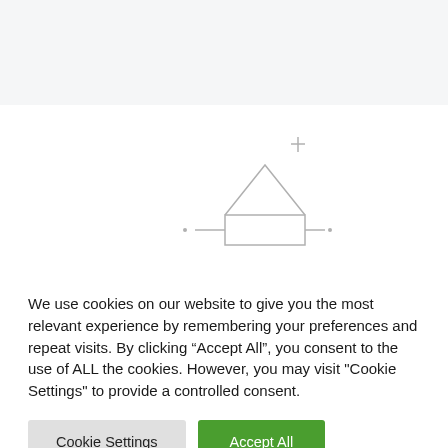[Figure (schematic): Partial diagram with a triangle/house shape outline and a plus symbol visible at the lower portion of the top-area region, appearing to be a chart or diagram that is mostly cut off.]
We use cookies on our website to give you the most relevant experience by remembering your preferences and repeat visits. By clicking “Accept All”, you consent to the use of ALL the cookies. However, you may visit "Cookie Settings" to provide a controlled consent.
Cookie Settings
Accept All